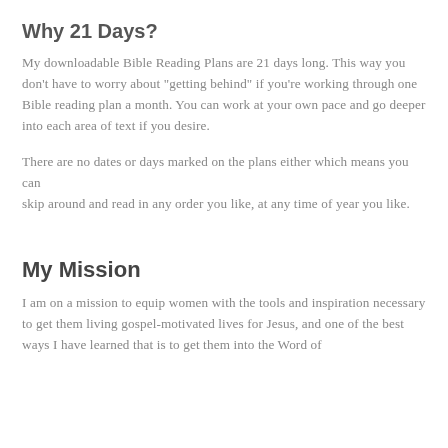Why 21 Days?
My downloadable Bible Reading Plans are 21 days long. This way you don't have to worry about "getting behind" if you're working through one Bible reading plan a month. You can work at your own pace and go deeper into each area of text if you desire.
There are no dates or days marked on the plans either which means you can skip around and read in any order you like, at any time of year you like.
My Mission
I am on a mission to equip women with the tools and inspiration necessary to get them living gospel-motivated lives for Jesus, and one of the best ways I have learned that is to get them into the Word of